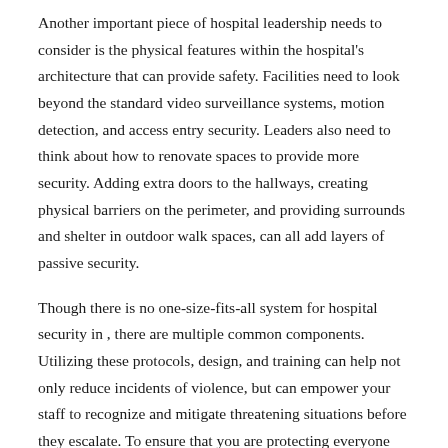Another important piece of hospital leadership needs to consider is the physical features within the hospital's architecture that can provide safety. Facilities need to look beyond the standard video surveillance systems, motion detection, and access entry security. Leaders also need to think about how to renovate spaces to provide more security. Adding extra doors to the hallways, creating physical barriers on the perimeter, and providing surrounds and shelter in outdoor walk spaces, can all add layers of passive security.
Though there is no one-size-fits-all system for hospital security in , there are multiple common components. Utilizing these protocols, design, and training can help not only reduce incidents of violence, but can empower your staff to recognize and mitigate threatening situations before they escalate. To ensure that you are protecting everyone